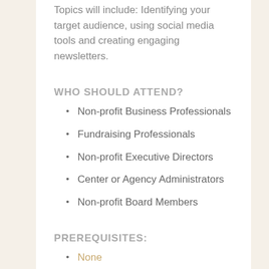Topics will include: Identifying your target audience, using social media tools and creating engaging newsletters.
WHO SHOULD ATTEND?
Non-profit Business Professionals
Fundraising Professionals
Non-profit Executive Directors
Center or Agency Administrators
Non-profit Board Members
PREREQUISITES:
None
WORKSHOP FACULTY TO INCLUDE